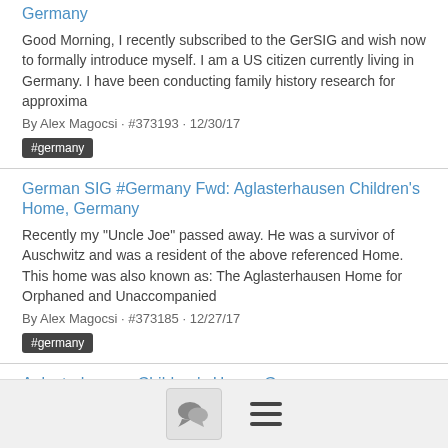Germany
Good Morning, I recently subscribed to the GerSIG and wish now to formally introduce myself. I am a US citizen currently living in Germany. I have been conducting family history research for approxima
By Alex Magocsi · #373193 · 12/30/17
#germany
German SIG #Germany Fwd: Aglasterhausen Children's Home, Germany
Recently my "Uncle Joe" passed away. He was a survivor of Auschwitz and was a resident of the above referenced Home. This home was also known as: The Aglasterhausen Home for Orphaned and Unaccompanied
By Alex Magocsi · #373185 · 12/27/17
#germany
Aglasterhausen Children's Home, Germany
Recently my "Uncle Joe" passed away. He was a survivor of